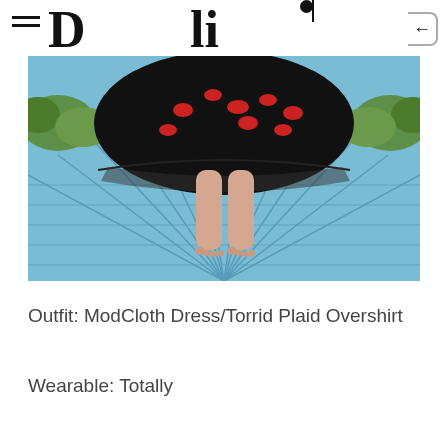Darling (partial logo visible)
[Figure (photo): Photo of a person's bare feet standing on a blue painted wooden deck, wearing a black dress with red lip print pattern, with green plants visible at the top edges.]
Outfit: ModCloth Dress/Torrid Plaid Overshirt
Wearable: Totally